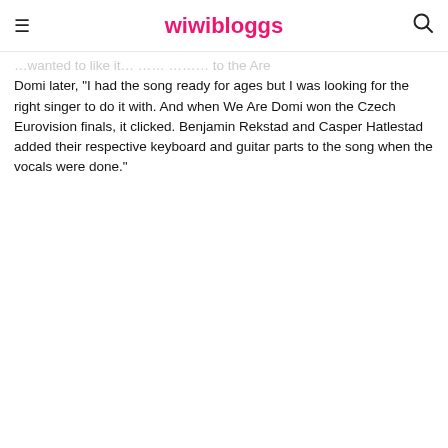wiwibloggs
…wanted to take it to the next level. To the Are Domi later, "I had the song ready for ages but I was looking for the right singer to do it with. And when We Are Domi won the Czech Eurovision finals, it clicked. Benjamin Rekstad and Casper Hatlestad added their respective keyboard and guitar parts to the song when the vocals were done."